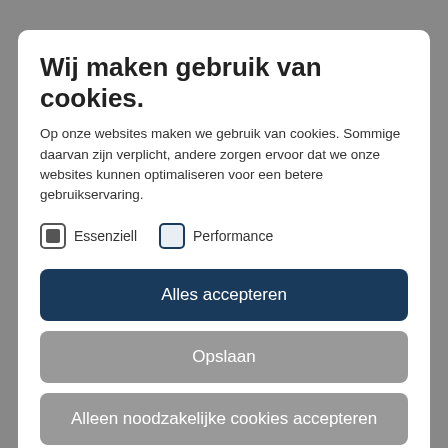Wij maken gebruik van cookies.
Op onze websites maken we gebruik van cookies. Sommige daarvan zijn verplicht, andere zorgen ervoor dat we onze websites kunnen optimaliseren voor een betere gebruikservaring.
Essenziell
Performance
Alles accepteren
Opslaan
Alleen noodzakelijke cookies accepteren
Meer informatie
Powered by sgalinski Cookie Opt In | Privacy | Bedrijfsgegevens